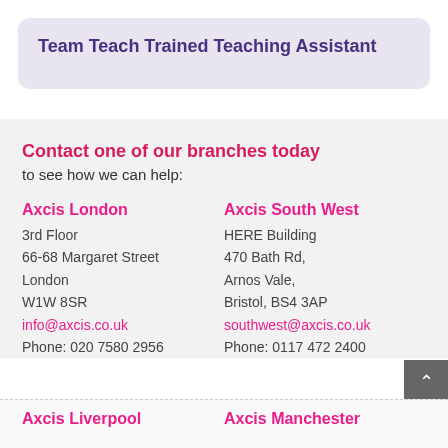Team Teach Trained Teaching Assistant
Contact one of our branches today
to see how we can help:
Axcis London
3rd Floor
66-68 Margaret Street
London
W1W 8SR
info@axcis.co.uk
Phone: 020 7580 2956
Axcis South West
HERE Building
470 Bath Rd,
Arnos Vale,
Bristol, BS4 3AP
southwest@axcis.co.uk
Phone: 0117 472 2400
Axcis Liverpool
Axcis Manchester